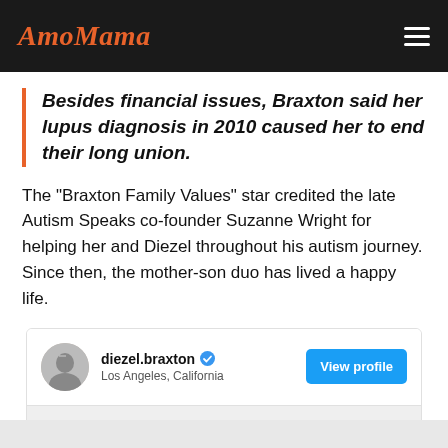AmoMama
Besides financial issues, Braxton said her lupus diagnosis in 2010 caused her to end their long union.
The "Braxton Family Values" star credited the late Autism Speaks co-founder Suzanne Wright for helping her and Diezel throughout his autism journey. Since then, the mother-son duo has lived a happy life.
[Figure (screenshot): Instagram profile embed for diezel.braxton, located in Los Angeles, California, with a View profile button]